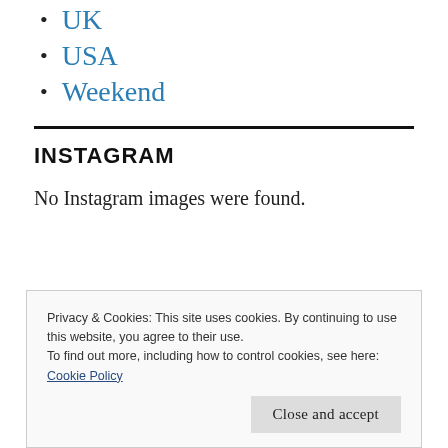UK
USA
Weekend
INSTAGRAM
No Instagram images were found.
Privacy & Cookies: This site uses cookies. By continuing to use this website, you agree to their use.
To find out more, including how to control cookies, see here:
Cookie Policy
Close and accept